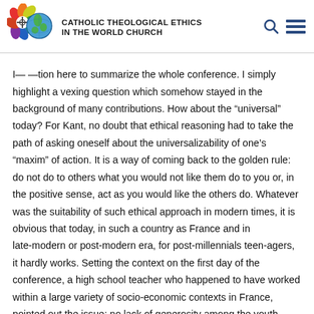CATHOLIC THEOLOGICAL ETHICS IN THE WORLD CHURCH
I— —tion here to summarize the whole conference. I simply highlight a vexing question which somehow stayed in the background of many contributions. How about the “universal” today? For Kant, no doubt that ethical reasoning had to take the path of asking oneself about the universalizability of one’s “maxim” of action. It is a way of coming back to the golden rule: do not do to others what you would not like them do to you or, in the positive sense, act as you would like the others do. Whatever was the suitability of such ethical approach in modern times, it is obvious that today, in such a country as France and in late-modern or post-modern era, for post-millennials teen-agers, it hardly works. Setting the context on the first day of the conference, a high school teacher who happened to have worked within a large variety of socio-economic contexts in France, pointed out the issue: no lack of generosity among the youth, neither of a sense solidarity especially with those close to them (the family, the friends, etc.). But the idea of universal human rights or of something like the common good is